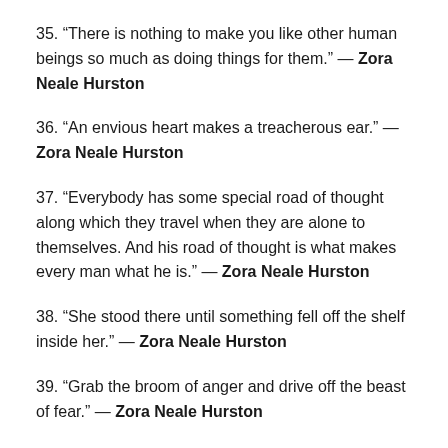35. “There is nothing to make you like other human beings so much as doing things for them.” — Zora Neale Hurston
36. “An envious heart makes a treacherous ear.” — Zora Neale Hurston
37. “Everybody has some special road of thought along which they travel when they are alone to themselves. And his road of thought is what makes every man what he is.” — Zora Neale Hurston
38. “She stood there until something fell off the shelf inside her.” — Zora Neale Hurston
39. “Grab the broom of anger and drive off the beast of fear.” — Zora Neale Hurston